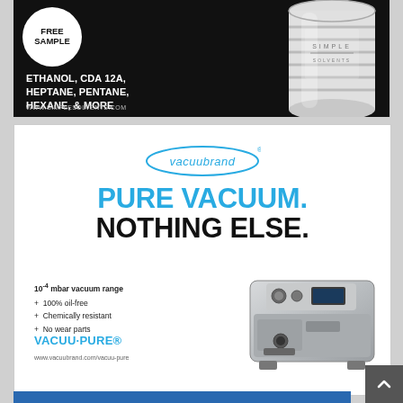[Figure (illustration): Simple Solvents advertisement with black background, white FREE SAMPLE circle badge, text listing ETHANOL CDA 12A HEPTANE PENTANE HEXANE & MORE, website URL, and silver drum container on right side]
[Figure (illustration): Vacuubrand advertisement with white background showing vacuubrand logo, PURE VACUUM. NOTHING ELSE. headline, product features list, VACUU·PURE product name, website URL, and image of grey vacuum pump machine]
[Figure (illustration): Partial bottom advertisement with blue header bar and logo visible at bottom edge of page]